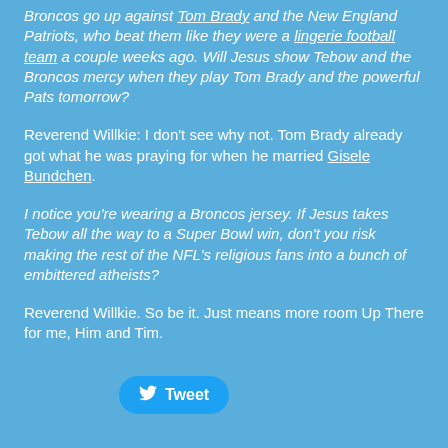Broncos go up against Tom Brady and the New England Patriots, who beat them like they were a lingerie football team a couple weeks ago. Will Jesus show Tebow and the Broncos mercy when they play Tom Brady and the powerful Pats tomorrow?
Reverend Willkie: I don't see why not. Tom Brady already got what he was praying for when he married Gisele Bundchen.
I notice you're wearing a Broncos jersey. If Jesus takes Tebow all the way to a Super Bowl win, don't you risk making the rest of the NFL's religious fans into a bunch of embittered atheists?
Reverend Willkie. So be it. Just means more room Up There for me, Him and Tim.
[Figure (other): Twitter Tweet button]